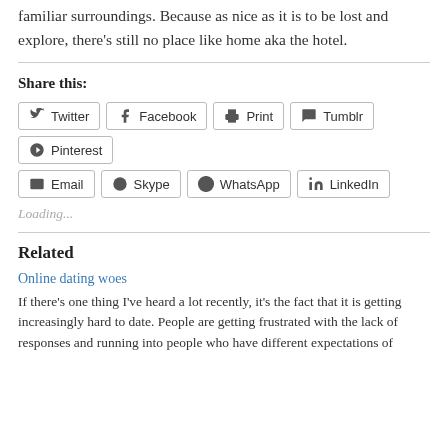familiar surroundings. Because as nice as it is to be lost and explore, there's still no place like home aka the hotel.
Share this:
Twitter Facebook Print Tumblr Pinterest Email Skype WhatsApp LinkedIn
Loading...
Related
Online dating woes
If there's one thing I've heard a lot recently, it's the fact that it is getting increasingly hard to date. People are getting frustrated with the lack of responses and running into people who have different expectations of